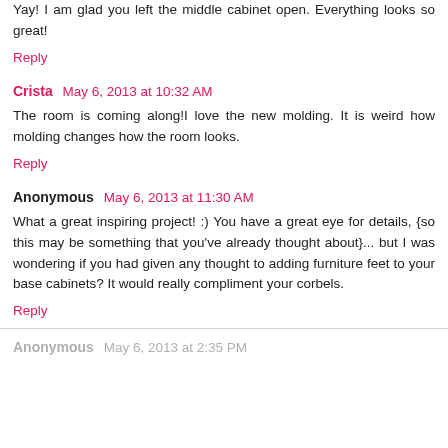Yay! I am glad you left the middle cabinet open. Everything looks so great!
Reply
Crista  May 6, 2013 at 10:32 AM
The room is coming along!I love the new molding. It is weird how molding changes how the room looks.
Reply
Anonymous  May 6, 2013 at 11:30 AM
What a great inspiring project! :) You have a great eye for details, {so this may be something that you've already thought about}... but I was wondering if you had given any thought to adding furniture feet to your base cabinets? It would really compliment your corbels.
Reply
Anonymous  May 6, 2013 at 2:35 PM